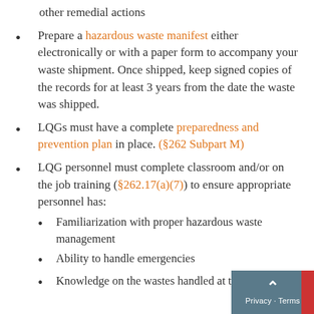other remedial actions
Prepare a hazardous waste manifest either electronically or with a paper form to accompany your waste shipment. Once shipped, keep signed copies of the records for at least 3 years from the date the waste was shipped.
LQGs must have a complete preparedness and prevention plan in place. (§262 Subpart M)
LQG personnel must complete classroom and/or on the job training (§262.17(a)(7)) to ensure appropriate personnel has:
Familiarization with proper hazardous waste management
Ability to handle emergencies
Knowledge on the wastes handled at the